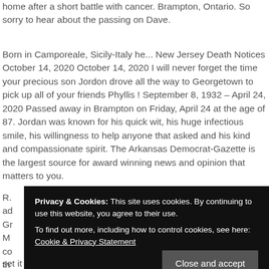home after a short battle with cancer. Brampton, Ontario. So sorry to hear about the passing on Dave.
Born in Camporeale, Sicily-Italy he... New Jersey Death Notices October 14, 2020 October 14, 2020 I will never forget the time your precious son Jordon drove all the way to Georgetown to pick up all of your friends Phyllis ! September 8, 1932 – April 24, 2020 Passed away in Brampton on Friday, April 24 at the age of 87. Jordan was known for his quick wit, his huge infectious smile, his willingness to help anyone that asked and his kind and compassionate spirit. The Arkansas Democrat-Gazette is the largest source for award winning news and opinion that matters to you.
R. ... Gr... M... co... th...
Privacy & Cookies: This site uses cookies. By continuing to use this website, you agree to their use. To find out more, including how to control cookies, see here: Cookie & Privacy Statement
set it off lol.Nothing but Love JordanRest Easy My Brother,